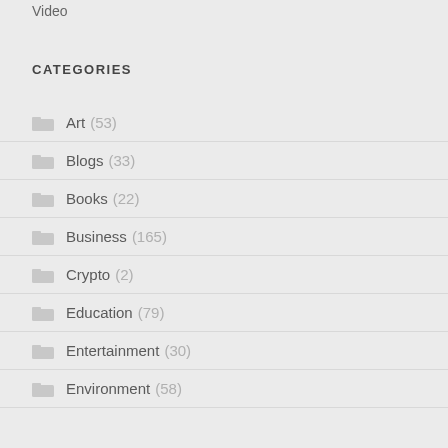Video
CATEGORIES
Art (53)
Blogs (33)
Books (22)
Business (165)
Crypto (2)
Education (79)
Entertainment (30)
Environment (58)